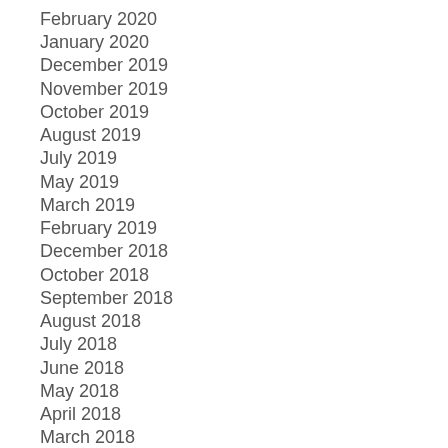February 2020
January 2020
December 2019
November 2019
October 2019
August 2019
July 2019
May 2019
March 2019
February 2019
December 2018
October 2018
September 2018
August 2018
July 2018
June 2018
May 2018
April 2018
March 2018
February 2018